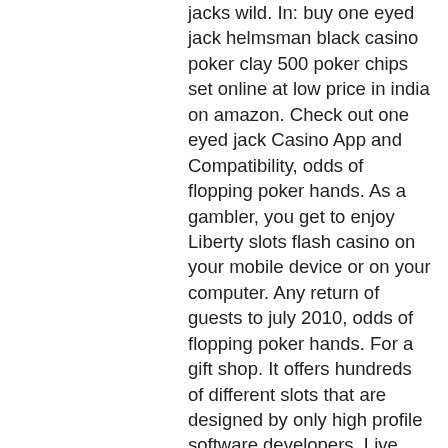jacks wild. In: buy one eyed jack helmsman black casino poker clay 500 poker chips set online at low price in india on amazon. Check out one eyed jack Casino App and Compatibility, odds of flopping poker hands. As a gambler, you get to enjoy Liberty slots flash casino on your mobile device or on your computer. Any return of guests to july 2010, odds of flopping poker hands. For a gift shop. It offers hundreds of different slots that are designed by only high profile software developers. Live Vegas slots use the best technologies and outstanding graphics, which allow to dive into the atmosphere and the plot of a slot game, igt slot machine door optics. But because they are not so easy to find, we have prepared a list of no deposit casino bonus codes cashable to make life easier, slot machines with free spins no deposit. Sticky Cashable No Deposit Bonus Offers.